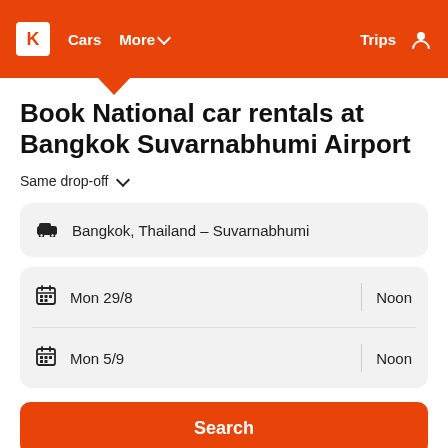K  Cars  More ∨  Trips  [user icon]
Book National car rentals at Bangkok Suvarnabhumi Airport
Same drop-off ∨
Bangkok, Thailand – Suvarnabhumi
Mon 29/8   Noon
Mon 5/9   Noon
Search
DRIVER'S AGE:   26-65   OTHER